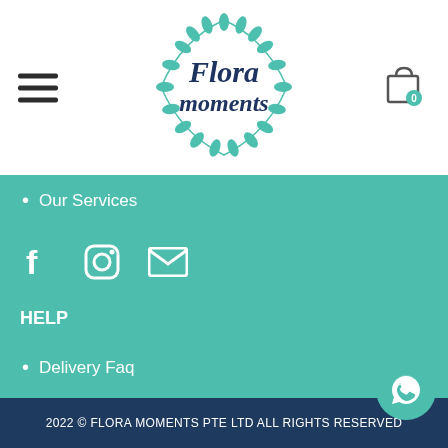[Figure (logo): Flora Moments logo: circular wreath of teal leaves with 'Flora moments' script text in dark navy blue]
Our Services
[Figure (infographic): Social media icons: Facebook, Instagram, Email (envelope)]
HELP
Delivery Faq
Delivery Policy
Terms & Conditions
Security & Privacy
Contact Us
2022 © FLORA MOMENTS PTE LTD ALL RIGHTS RESERVED